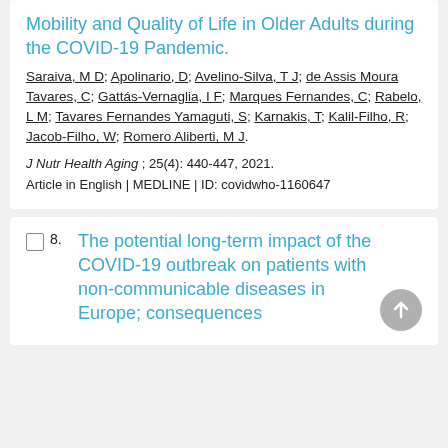Mobility and Quality of Life in Older Adults during the COVID-19 Pandemic.
Saraiva, M D; Apolinario, D; Avelino-Silva, T J; de Assis Moura Tavares, C; Gattás-Vernaglia, I F; Marques Fernandes, C; Rabelo, L M; Tavares Fernandes Yamaguti, S; Karnakis, T; Kalil-Filho, R; Jacob-Filho, W; Romero Aliberti, M J.
J Nutr Health Aging ; 25(4): 440-447, 2021. Article in English | MEDLINE | ID: covidwho-1160647
The potential long-term impact of the COVID-19 outbreak on patients with non-communicable diseases in Europe; consequences